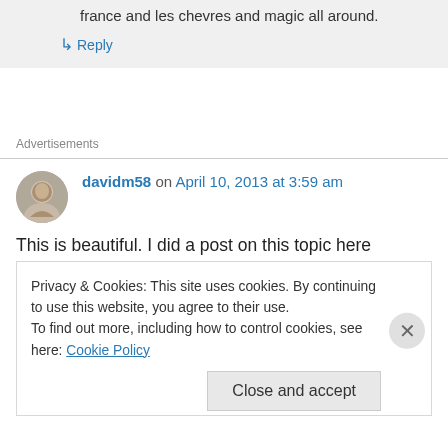france and les chevres and magic all around.
↳ Reply
Advertisements
davidm58 on April 10, 2013 at 3:59 am
This is beautiful. I did a post on this topic here
Privacy & Cookies: This site uses cookies. By continuing to use this website, you agree to their use.
To find out more, including how to control cookies, see here: Cookie Policy
Close and accept